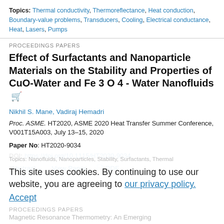Topics: Thermal conductivity, Thermoreflectance, Heat conduction, Boundary-value problems, Transducers, Cooling, Electrical conductance, Heat, Lasers, Pumps
PROCEEDINGS PAPERS
Effect of Surfactants and Nanoparticle Materials on the Stability and Properties of CuO-Water and Fe 3 O 4 - Water Nanofluids
Nikhil S. Mane, Vadiraj Hemadri
Proc. ASME. HT2020, ASME 2020 Heat Transfer Summer Conference, V001T15A003, July 13–15, 2020
Paper No: HT2020-9034
DOI: https://doi.org/10.1115/HT2020-9034
Abstract  View Paper  PDF
Topics: Nanofluids, Nanoparticles, Stability, Surfactants, Thermal
This site uses cookies. By continuing to use our website, you are agreeing to our privacy policy. Accept
PROCEEDINGS PAPERS
Magnetic Resonance Thermometry: An Emerging